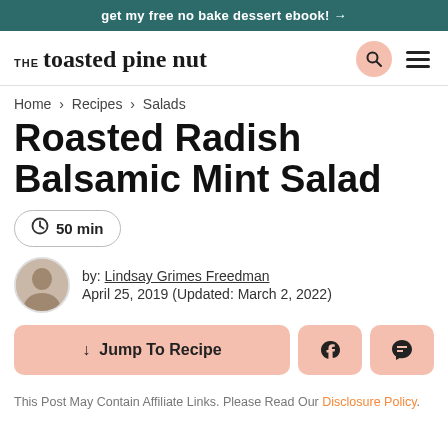get my free no bake dessert ebook! →
[Figure (logo): THE toasted pine nut logo with search and menu icons]
Home > Recipes > Salads
Roasted Radish Balsamic Mint Salad
50 min
by: Lindsay Grimes Freedman
April 25, 2019 (Updated: March 2, 2022)
↓ Jump To Recipe
This Post May Contain Affiliate Links. Please Read Our Disclosure Policy.